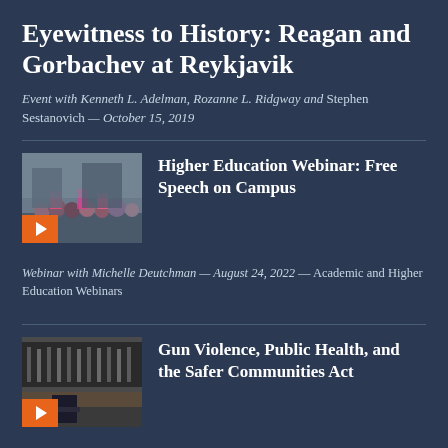Eyewitness to History: Reagan and Gorbachev at Reykjavik
Event with Kenneth L. Adelman, Rozanne L. Ridgway and Stephen Sestanovich — October 15, 2019
Higher Education Webinar: Free Speech on Campus
Webinar with Michelle Deutchman — August 24, 2022 — Academic and Higher Education Webinars
Gun Violence, Public Health, and the Safer Communities Act
Webinar with Vin Gupta and Jonas Oransky — August 9, 2022 — State and Local Webinars